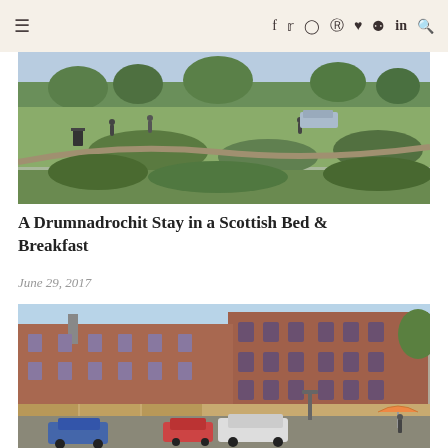≡  f  𝕥  ⊙  𝗽  ♥  ✴  in  🔍
[Figure (photo): Outdoor park scene with green grass, shrubs, trees, and people walking. Vehicles visible in the background.]
A Drumnadrochit Stay in a Scottish Bed & Breakfast
June 29, 2017
[Figure (photo): Street view of a multi-story red brick building with arched windows. Cars and a blue sedan visible in the foreground on a cobblestone street. Awnings and storefronts at street level.]